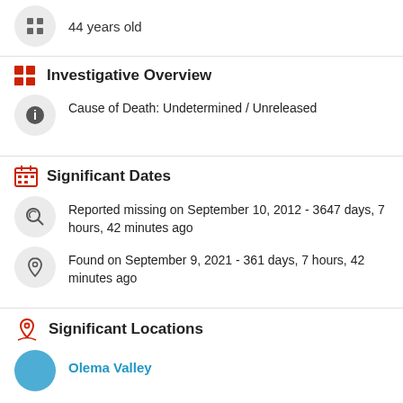44 years old
Investigative Overview
Cause of Death: Undetermined / Unreleased
Significant Dates
Reported missing on September 10, 2012 - 3647 days, 7 hours, 42 minutes ago
Found on September 9, 2021 - 361 days, 7 hours, 42 minutes ago
Significant Locations
Olema Valley